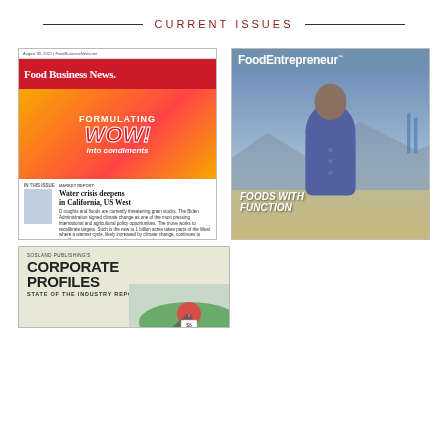CURRENT ISSUES
[Figure (photo): Cover of Food Business News magazine showing 'Formulating WOW! into condiments' headline with article 'Water crisis deepens in California, US West']
[Figure (photo): Cover of Food Entrepreneur magazine showing a man smiling outdoors with Golden Gate Bridge in background, headline 'FOODS WITH FUNCTION']
[Figure (photo): Cover of Sosland Publishing's Corporate Profiles - State of the Industry Report]